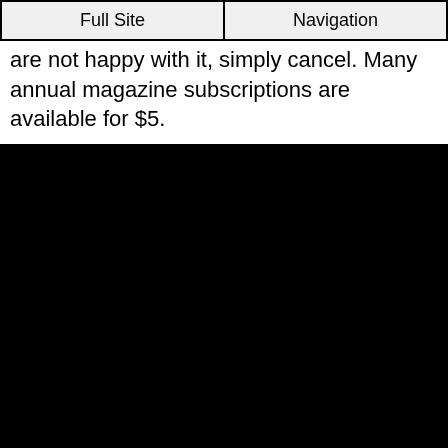Full Site | Navigation
are not happy with it, simply cancel. Many annual magazine subscriptions are available for $5.